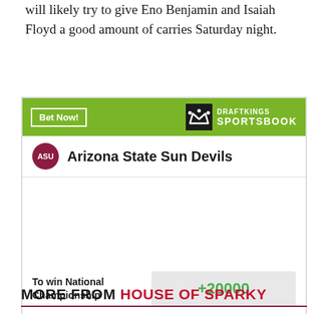will likely try to give Eno Benjamin and Isaiah Floyd a good amount of carries Saturday night.
[Figure (infographic): DraftKings Sportsbook betting widget for Arizona State Sun Devils showing odds to win National Championship at +20000]
MORE FROM HOUSE OF SPARKY